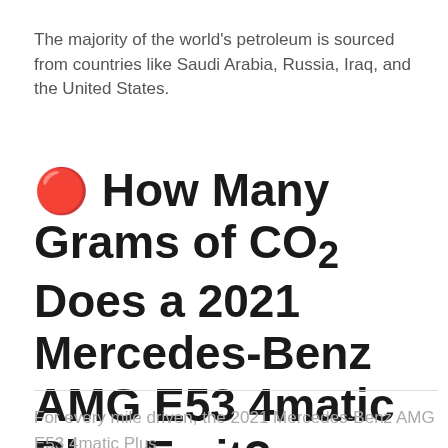The majority of the world's petroleum is sourced from countries like Saudi Arabia, Russia, Iraq, and the United States.
🔴 How Many Grams of CO₂ Does a 2021 Mercedes-Benz AMG E53 4matic Plus Emit?
For every mile driven, the 2021 Mercedes-Benz AMG E53 4matic Plus